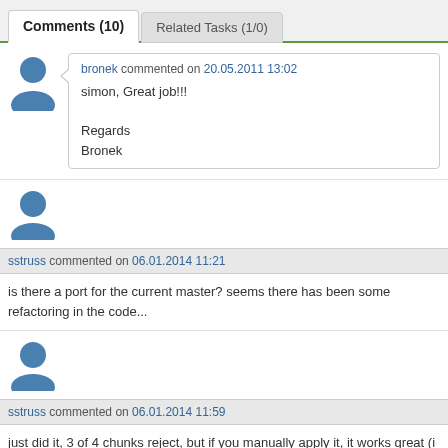Comments (10)   Related Tasks (1/0)
bronek commented on 20.05.2011 13:02
simon, Great job!!!

Regards
Bronek
sstruss commented on 06.01.2014 11:21
is there a port for the current master? seems there has been some refactoring in the code...
sstruss commented on 06.01.2014 11:59
just did it, 3 of 4 chunks reject, but if you manually apply it, it works great (i am